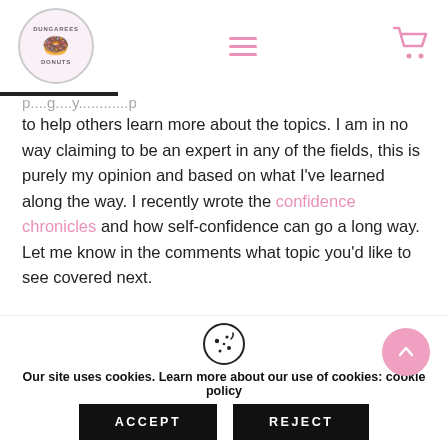Dungarees Donuts — logo, hamburger menu, cart icon
to help others learn more about the topics. I am in no way claiming to be an expert in any of the fields, this is purely my opinion and based on what I've learned along the way. I recently wrote the confidence chronicles and how self-confidence can go a long way. Let me know in the comments what topic you'd like to see covered next.
Our site uses cookies. Learn more about our use of cookies: cookie policy
ACCEPT | REJECT